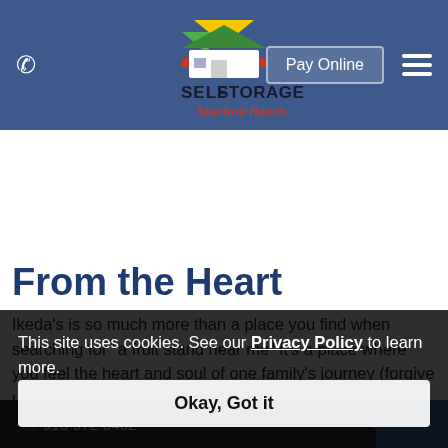Pay Online | Menu
[Figure (logo): Self Storage Stanford Ranch logo with colorful house icon and text]
From the Heart
Ikeda's is so much more than a place you find when searching for "a fruit stand near me" it's a place where you feel the heart and soul of one family's journey (forgive us, that pun was irresistible). I was fortunate enough to hear the Ikeda's family story from someone who knows it well - Derek Ikeda. As a member of the third generation of his family to be a
This site uses cookies. See our Privacy Policy to learn more.
Okay, Got it
📞 916-972-3402   ✉ Email